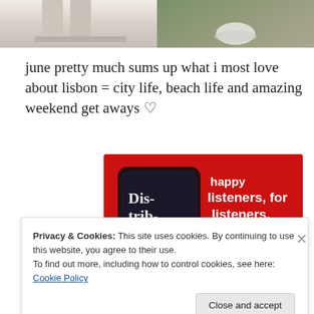[Figure (photo): Two cropped photos side by side at top: left shows furniture/stool legs in neutral tones, right shows feet/shoes on cobblestones]
june pretty much sums up what i most love about lisbon = city life, beach life and amazing weekend get aways ♡
[Figure (screenshot): Advertisement banner with red background showing a podcast app on a smartphone with text 'Dis-trib-uted' on screen, white bold text reading 'happy listeners, for listeners.' and a 'Download now' button]
Privacy & Cookies: This site uses cookies. By continuing to use this website, you agree to their use.
To find out more, including how to control cookies, see here: Cookie Policy
Close and accept